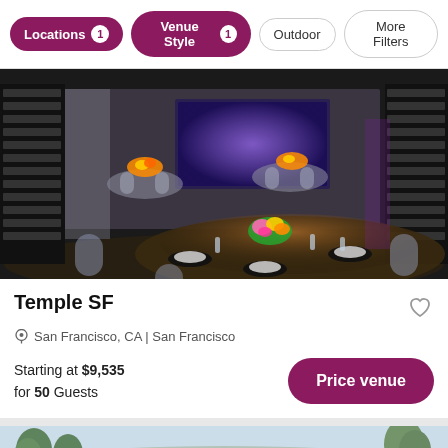Locations 1   Venue Style 1   Outdoor   More Filters
[Figure (photo): Event venue interior with round tables set for a formal dinner, clear ghost chairs, floral centerpieces with orange and yellow flowers, black table settings, draped fabric backdrop and large screen in background with purple lighting.]
Temple SF
San Francisco, CA | San Francisco
Starting at $9,535 for 50 Guests
[Figure (photo): Partial preview of a second venue card showing an outdoor scenic view with trees and hillside in the background.]